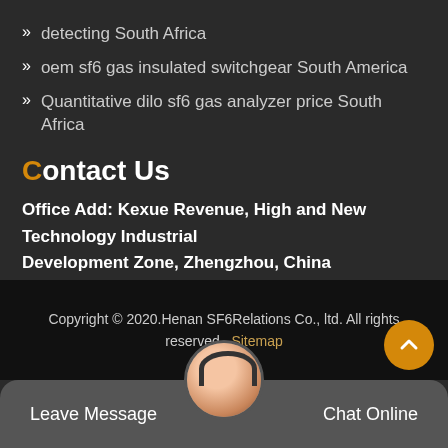detecting South Africa
oem sf6 gas insulated switchgear South America
Quantitative dilo sf6 gas analyzer price South Africa
Contact Us
Office Add: Kexue Revenue, High and New Technology Industrial Development Zone, Zhengzhou, China
Copyright © 2020.Henan SF6Relations Co., ltd. All rights reserved. Sitemap
Leave Message
Chat Online